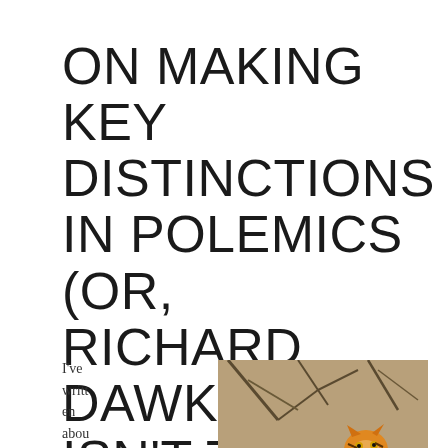ON MAKING KEY DISTINCTIONS IN POLEMICS (OR, RICHARD DAWKINS ISN'T THE ONLY ATHEIST OUT THERE)
I've written about intell
[Figure (photo): Two tigers fighting or playing, rearing up on hind legs facing each other with open mouths, outdoors with dry grass and bare branches in background.]